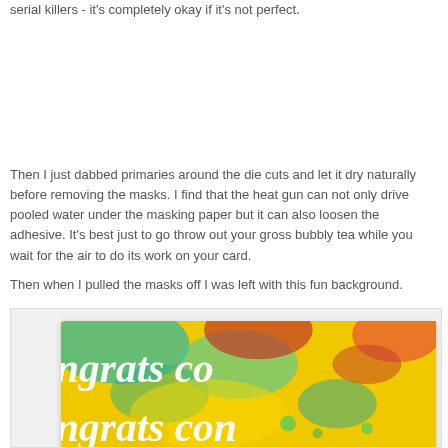serial killers - it's completely okay if it's not perfect.
Then I just dabbed primaries around the die cuts and let it dry naturally before removing the masks. I find that the heat gun can not only drive pooled water under the masking paper but it can also loosen the adhesive. It's best just to go throw out your gross bubbly tea while you wait for the air to do its work on your card.
Then when I pulled the masks off I was left with this fun background.
[Figure (photo): A colorful watercolor card background with vibrant yellow, green, teal, and red splashes. White script lettering reading 'congrats' repeated across the card in a cursive font, partially cropped at the edges.]